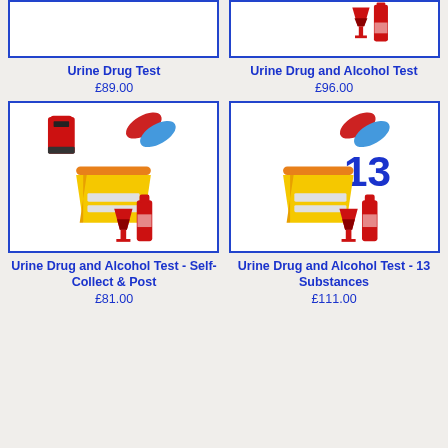[Figure (illustration): Partial view of Urine Drug Test product card (top cropped)]
[Figure (illustration): Partial view of Urine Drug and Alcohol Test product card showing wine glass and bottle icons (top cropped)]
Urine Drug Test
Urine Drug and Alcohol Test
£89.00
£96.00
[Figure (illustration): Product card for Urine Drug and Alcohol Test - Self-Collect & Post: shows red postbox, capsule pill, urine sample cup, wine bottle and glass icons]
[Figure (illustration): Product card for Urine Drug and Alcohol Test - 13 Substances: shows capsule pill, number 13, urine sample cup, wine bottle and glass icons]
Urine Drug and Alcohol Test - Self-Collect & Post
Urine Drug and Alcohol Test - 13 Substances
£81.00
£111.00